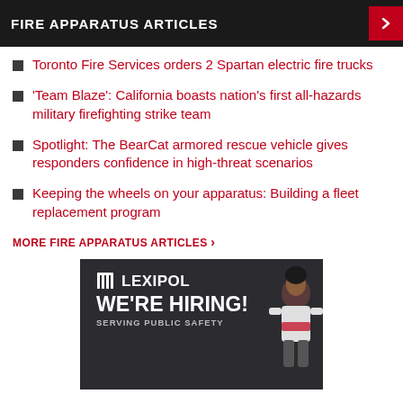FIRE APPARATUS ARTICLES
Toronto Fire Services orders 2 Spartan electric fire trucks
'Team Blaze': California boasts nation's first all-hazards military firefighting strike team
Spotlight: The BearCat armored rescue vehicle gives responders confidence in high-threat scenarios
Keeping the wheels on your apparatus: Building a fleet replacement program
MORE FIRE APPARATUS ARTICLES ›
[Figure (illustration): Lexipol advertisement banner with dark background showing 'LEXIPOL WE'RE HIRING! SERVING PUBLIC SAFETY' text and an illustrated person figure on the right side]